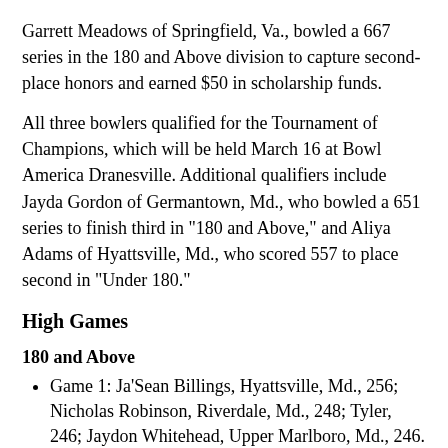Garrett Meadows of Springfield, Va., bowled a 667 series in the 180 and Above division to capture second-place honors and earned $50 in scholarship funds.
All three bowlers qualified for the Tournament of Champions, which will be held March 16 at Bowl America Dranesville. Additional qualifiers include Jayda Gordon of Germantown, Md., who bowled a 651 series to finish third in "180 and Above," and Aliya Adams of Hyattsville, Md., who scored 557 to place second in "Under 180."
High Games
180 and Above
Game 1: Ja'Sean Billings, Hyattsville, Md., 256; Nicholas Robinson, Riverdale, Md., 248; Tyler, 246; Jaydon Whitehead, Upper Marlboro, Md., 246.
Game 2: Gordon, 289.
Game 3: Meadows, 274.